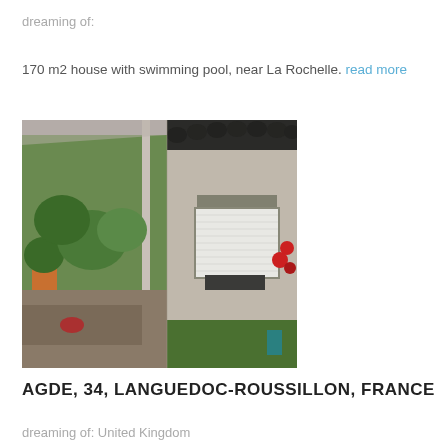dreaming of:
170 m2 house with swimming pool, near La Rochelle. read more
[Figure (photo): Exterior photo of a French house showing a glass-roofed terrace/veranda on the left side with garden and potted plants visible, and a white-rendered wall with roller shutter window on the right side, green lawn in foreground]
AGDE, 34, LANGUEDOC-ROUSSILLON, FRANCE
dreaming of: United Kingdom